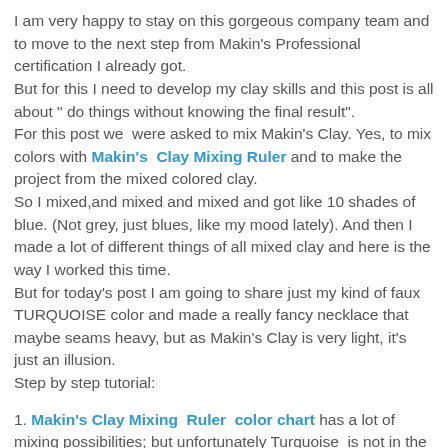I am very happy to stay on this gorgeous company team and to move to the next step from Makin's Professional certification I already got.
 But for this I need to develop my clay skills and this post is all about " do things without knowing the final result".
For this post we  were asked to mix Makin's Clay. Yes, to mix colors with Makin's  Clay Mixing Ruler and to make the project from the mixed colored clay.
So I mixed,and mixed and mixed and got like 10 shades of blue. (Not grey, just blues, like my mood lately). And then I made a lot of different things of all mixed clay and here is the way I worked this time.
But for today's post I am going to share just my kind of faux TURQUOISE color and made a really fancy necklace that maybe seams heavy, but as Makin's Clay is very light, it's just an illusion.
 Step by step tutorial:
1. Makin's Clay Mixing  Ruler  color chart has a lot of mixing possibilities; but unfortunately Turquoise  is not in the chart (and I didn't want to mess with mixing acrylic paint this time).